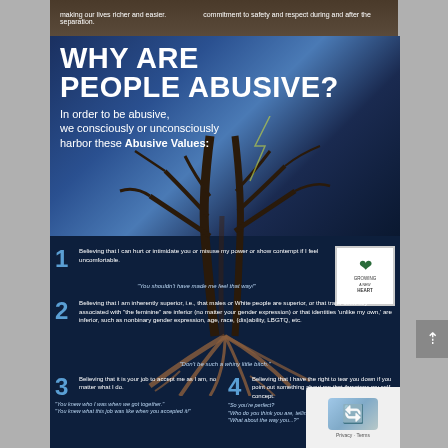[Figure (infographic): Infographic titled 'WHY ARE PEOPLE ABUSIVE?' with a stormy sky and dead tree with roots background. Lists 6 numbered abusive values with explanatory text and example quotes.]
WHY ARE PEOPLE ABUSIVE?
In order to be abusive, we consciously or unconsciously harbor these Abusive Values:
1. Believing that I can hurt or intimidate you or misuse my power or show contempt if I feel uncomfortable. "You shouldn't have made me feel that way!"
2. Believing that I am inherently superior, i.e., that males or White people are superior, or that traits culturally associated with "the feminine" are inferior (no matter your gender expression) or that identities 'unlike my own,' are inferior, such as nonbinary gender expression, age, race, (dis)ability, LBGTQ, etc. "Don't be such a whiny little bitch."
3. Believing that it is your job to accept me as I am, no matter what I do. "You knew who I was when we got together." "You knew what this job was like when you accepted it!"
4. Believing that I have the right to tear you down if you point out something about me that threatens my self-concept. "So you're perfect? "Who do you think you are, telling me?" "What about the way you...?"
5. Believing that you must celebrate me, my self-perceived strengths, my growth and change, and not mention how little I have actually changed. "All that was in the past. It's over. I'm doing great and nothing is ever good enough for you! How long do I have to suffer because of one mistake?"
6. Believing that I can act disgusted and insulted and insulting if you point out significant things that I forget or do not know. "What the hell do you know about it, anyway"